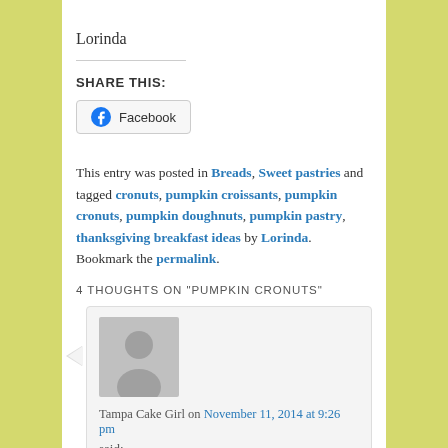Lorinda
SHARE THIS:
[Figure (other): Facebook share button with Facebook logo icon]
This entry was posted in Breads, Sweet pastries and tagged cronuts, pumpkin croissants, pumpkin cronuts, pumpkin doughnuts, pumpkin pastry, thanksgiving breakfast ideas by Lorinda. Bookmark the permalink.
4 THOUGHTS ON "PUMPKIN CRONUTS"
[Figure (photo): Generic user avatar - gray silhouette of a person on light gray background]
Tampa Cake Girl on November 11, 2014 at 9:26 pm
said:
i am so excited to be the first comment! Those